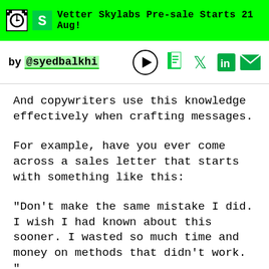Vetter Skylabs Pre-sale Starts 21 Aug!
by @syedbalkhi
And copywriters use this knowledge effectively when crafting messages.
For example, have you ever come across a sales letter that starts with something like this:
"Don't make the same mistake I did. I wish I had known about this sooner. I wasted so much time and money on methods that didn't work. "
This is an example of a negative psychological trigger because the fear of loss. The copywriter is trying to...